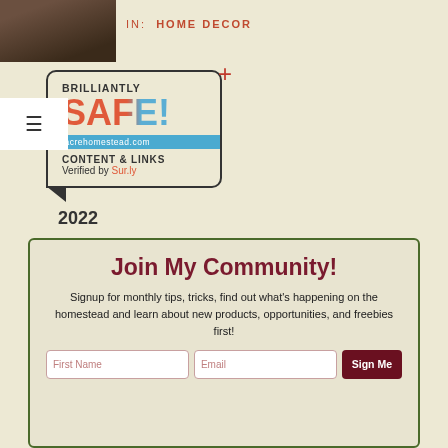[Figure (photo): Small thumbnail photo with dark brown tones, appears to be an animal or farm image]
IN:  HOME DECOR
[Figure (infographic): Brilliantly SAFE! content safety badge from 15acrehomestead.com, verified by Sur.ly, with red plus sign, blue ribbon, and speech bubble design. Year 2022 shown below.]
Join My Community!
Signup for monthly tips, tricks, find out what's happening on the homestead and learn about new products, opportunities, and freebies first!